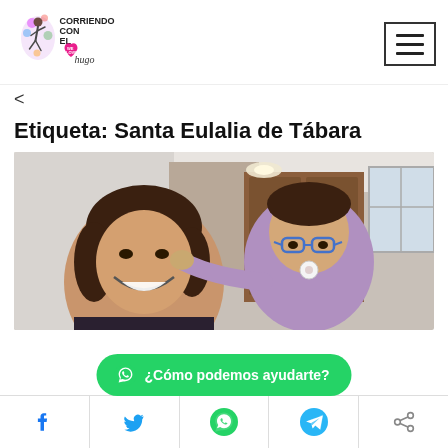[Figure (logo): Corriendo Con El Hugo logo with colorful runner figure and We Love Hugo text]
<
Etiqueta: Santa Eulalia de Tábara
[Figure (photo): A woman smiling and a young girl with blue glasses and a pacifier, taking a selfie indoors]
¿Cómo podemos ayudarte?
Social share bar: Facebook, Twitter, WhatsApp, Telegram, Share